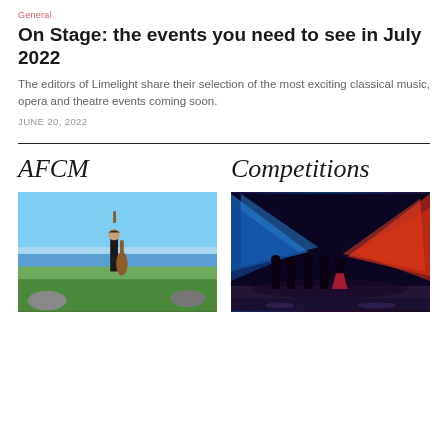General
On Stage: the events you need to see in July 2022
The editors of Limelight share their selection of the most exciting classical music, opera and theatre events coming soon.
JUNE 20, 2022
AFCM
[Figure (photo): A woman in a black dress standing outdoors on a grassy hillside near the ocean, holding a cello]
Competitions
[Figure (photo): Silhouettes of performers on stage with dramatic blue and red lighting effects at a concert]